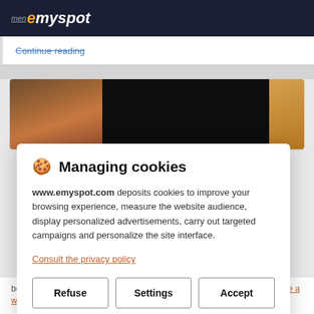menu emyspot
Continue reading
[Figure (photo): Horizontal image strip showing wooden objects on left, dark/black center, and warm wood tones on right]
🍪 Managing cookies
www.emyspot.com deposits cookies to improve your browsing experience, measure the website audience, display personalized advertisements, carry out targeted campaigns and personalize the site interface.
Consult the privacy policy
Refuse   Settings   Accept
been motivated in large part by a desire to make it easier than ever to make a website. As a result, we've spent a lot of time